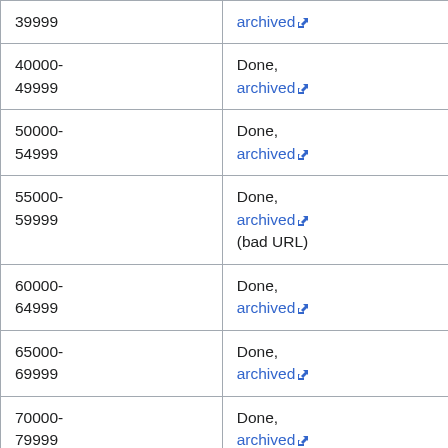| Range | Status | Count | Size |
| --- | --- | --- | --- |
| 39999 | archived | 4085 | 9G |
| 40000-49999 | Done, archived | 5704 | 18G |
| 50000-54999 | Done, archived | 2707 | 24G |
| 55000-59999 | Done, archived (bad URL) | 2390 | 24G |
| 60000-64999 | Done, archived | 2349 | 24G |
| 65000-69999 | Done, archived | 305 | 4G |
| 70000-79999 | Done, archived | 59 | 0.2G |
| 80000-84999 | Done, archived | 2822 | 31G |
| 85000-89999 | Done, archived | 1869 | 29G |